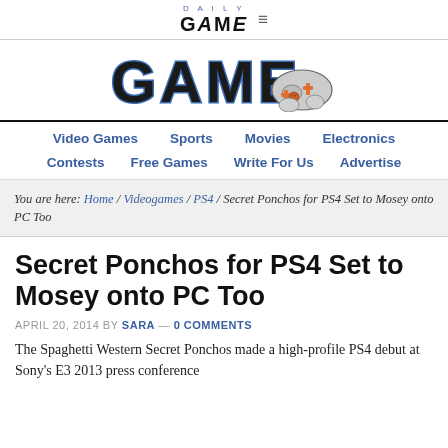DAILY GAME ≡
[Figure (logo): Daily Game logo with large bold GAME text in black/blue with a game controller icon (d-pad with basketball)]
Video Games  Sports  Movies  Electronics  Contests  Free Games  Write For Us  Advertise
You are here: Home / Videogames / PS4 / Secret Ponchos for PS4 Set to Mosey onto PC Too
Secret Ponchos for PS4 Set to Mosey onto PC Too
APRIL 20, 2014 BY SARA — 0 COMMENTS
The Spaghetti Western Secret Ponchos made a high-profile PS4 debut at Sony's E3 2013 press conference